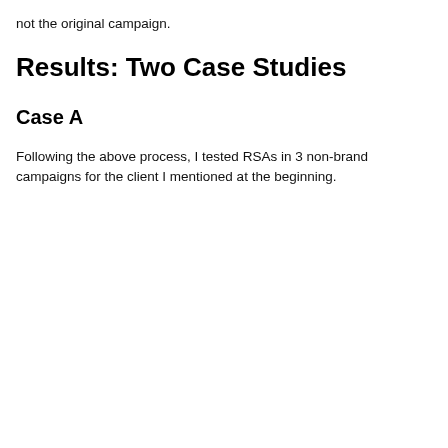not the original campaign.
Results: Two Case Studies
Case A
Following the above process, I tested RSAs in 3 non-brand campaigns for the client I mentioned at the beginning.